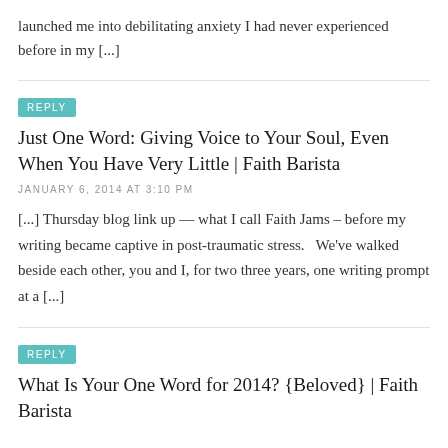launched me into debilitating anxiety I had never experienced before in my [...]
REPLY
Just One Word: Giving Voice to Your Soul, Even When You Have Very Little | Faith Barista
JANUARY 6, 2014 AT 3:10 PM
[...] Thursday blog link up — what I call Faith Jams – before my writing became captive in post-traumatic stress.   We've walked beside each other, you and I, for two three years, one writing prompt at a [...]
REPLY
What Is Your One Word for 2014? {Beloved} | Faith Barista